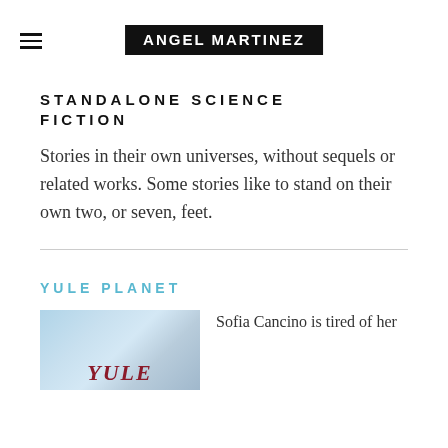ANGEL MARTINEZ
STANDALONE SCIENCE FICTION
Stories in their own universes, without sequels or related works. Some stories like to stand on their own two, or seven, feet.
YULE PLANET
[Figure (photo): Book cover for Yule Planet showing blue/white wintry background with title text YULE visible]
Sofia Cancino is tired of her